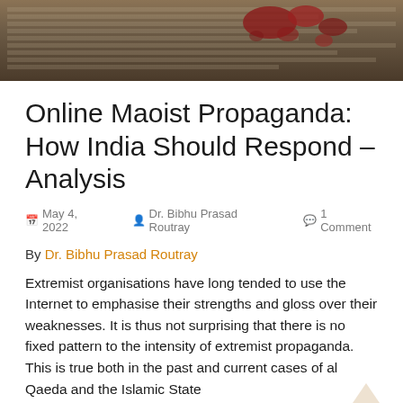[Figure (photo): Newspaper/document background image with red ink blots or markings, dark brownish-sepia tone]
Online Maoist Propaganda: How India Should Respond – Analysis
May 4, 2022   Dr. Bibhu Prasad Routray   1 Comment
By Dr. Bibhu Prasad Routray
Extremist organisations have long tended to use the Internet to emphasise their strengths and gloss over their weaknesses. It is thus not surprising that there is no fixed pattern to the intensity of extremist propaganda. This is true both in the past and current cases of al Qaeda and the Islamic State